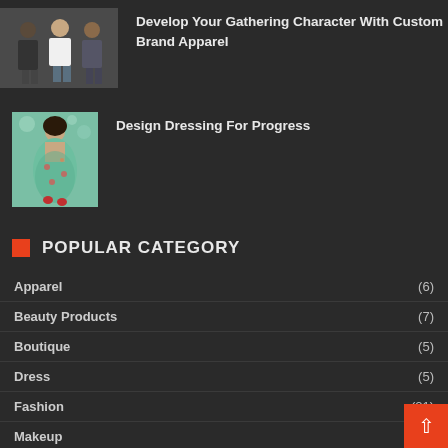[Figure (photo): Group of people standing, fashion/apparel photo]
Develop Your Gathering Character With Custom Brand Apparel
[Figure (photo): Woman in teal/green dress, fashion photo]
Design Dressing For Progress
POPULAR CATEGORY
Apparel (6)
Beauty Products (7)
Boutique (5)
Dress (5)
Fashion (21)
Makeup (5)
Trends